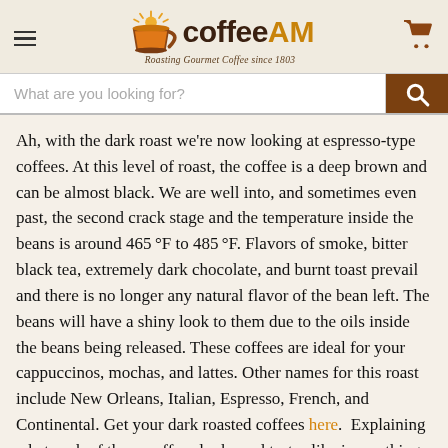coffeeAM — Roasting Gourmet Coffee since 1803
What are you looking for? [search bar]
Ah, with the dark roast we're now looking at espresso-type coffees. At this level of roast, the coffee is a deep brown and can be almost black. We are well into, and sometimes even past, the second crack stage and the temperature inside the beans is around 465°F to 485°F. Flavors of smoke, bitter black tea, extremely dark chocolate, and burnt toast prevail and there is no longer any natural flavor of the bean left. The beans will have a shiny look to them due to the oils inside the beans being released. These coffees are ideal for your cappuccinos, mochas, and lattes. Other names for this roast include New Orleans, Italian, Espresso, French, and Continental. Get your dark roasted coffees here.  Explaining what each of these coffees looks and tastes like is one thing, but we highly suggest you try different roasts